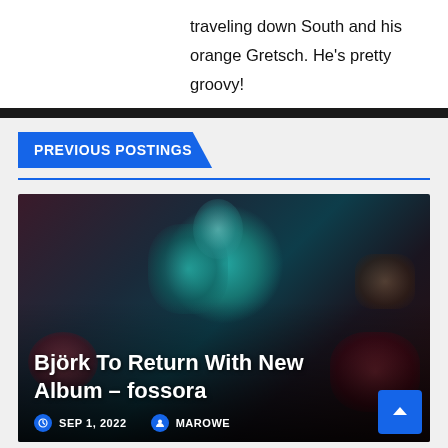traveling down South and his orange Gretsch. He's pretty groovy!
PREVIOUS POSTINGS
[Figure (photo): Article card with dark moody image featuring teal/blue surreal figure with organic shapes, overlaid with article title 'Björk To Return With New Album – fossora' and metadata showing SEP 1, 2022 and MAROWE]